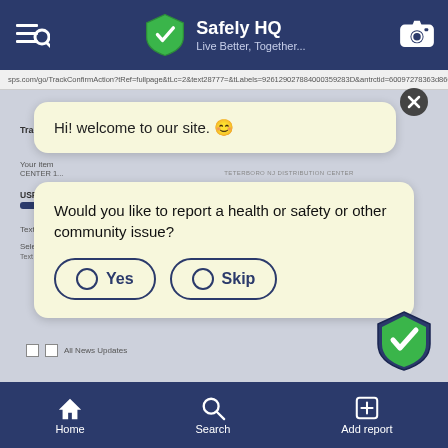Safely HQ — Live Better, Together...
[Figure (screenshot): Mobile app screenshot showing a USPS tracking page in the background with two chatbot dialog bubbles: 1) 'Hi! welcome to our site. 😊' with a close button, and 2) 'Would you like to report a health or safety or other community issue?' with Yes and Skip buttons. A shield badge with checkmark is in the bottom right. Likes count shows 6.9K.]
Home   Search   Add report